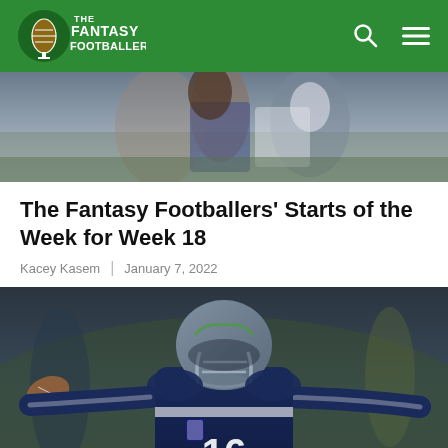The Fantasy Footballers
[Figure (photo): Football action photo — partial view of players on field, top portion cut off]
The Fantasy Footballers' Starts of the Week for Week 18
Kacey Kasem | January 7, 2022
[Figure (photo): Seattle Seahawks player #16 in dark navy uniform with arms outstretched, celebrating on the field]